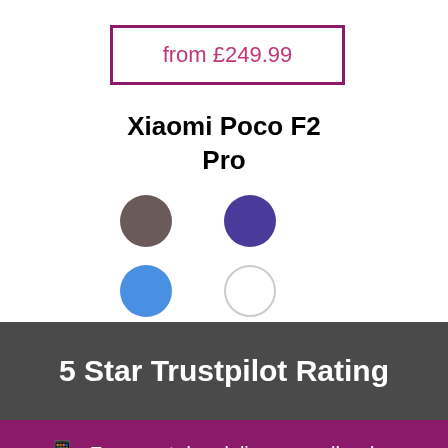from £249.99
Xiaomi Poco F2 Pro
[Figure (illustration): Four color swatches in a 2x2 grid: brown, purple (top row), blue, white (bottom row)]
5 Star Trustpilot Rating
Free next day delivery on all orders